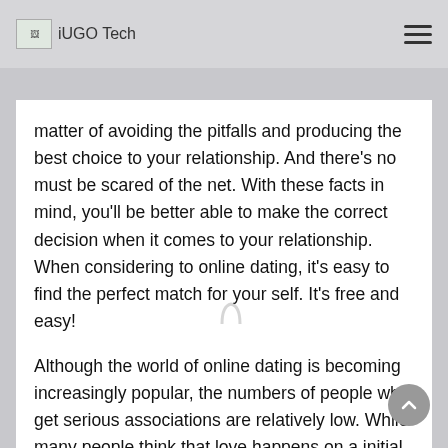iUGO Tech
matter of avoiding the pitfalls and producing the best choice to your relationship. And there’s no must be scared of the net. With these facts in mind, you'll be better able to make the correct decision when it comes to your relationship. When considering to online dating, it's easy to find the perfect match for your self. It's free and easy!
Although the world of online dating is becoming increasingly popular, the numbers of people who get serious associations are relatively low. While many people think that love happens on a initial date, one-fifth of them actually say that they’re not serious about their relationship. This is why it's important to know the details of the internet plus the pros and